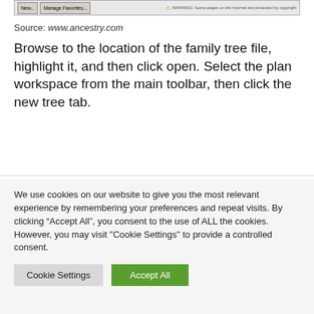[Figure (screenshot): Browser toolbar screenshot showing New and Manage Favorites buttons, with copyright warning text on the right.]
Source: www.ancestry.com
Browse to the location of the family tree file, highlight it, and then click open. Select the plan workspace from the main toolbar, then click the new tree tab.
We use cookies on our website to give you the most relevant experience by remembering your preferences and repeat visits. By clicking “Accept All”, you consent to the use of ALL the cookies. However, you may visit "Cookie Settings" to provide a controlled consent.